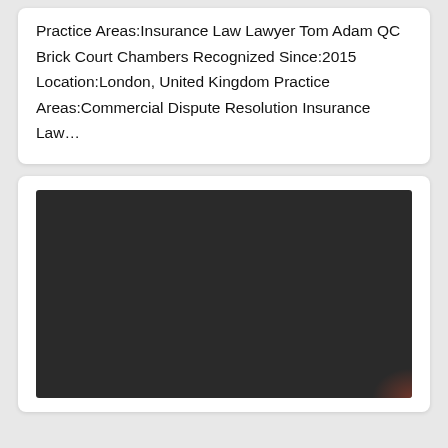Practice Areas:Insurance Law Lawyer Tom Adam QC Brick Court Chambers Recognized Since:2015 Location:London, United Kingdom Practice Areas:Commercial Dispute Resolution Insurance Law…
[Figure (photo): Dark/black rectangular image area, likely a photo or video thumbnail with a faint reddish-brown glow in the bottom-right corner.]